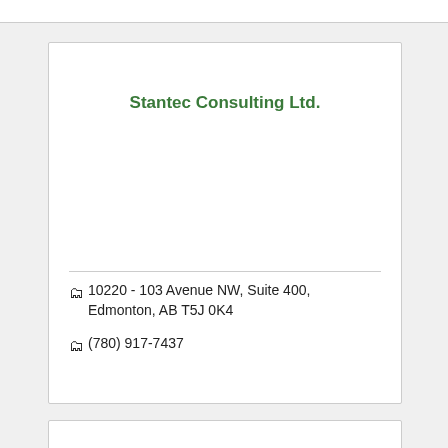Stantec Consulting Ltd.
10220 - 103 Avenue NW, Suite 400, Edmonton, AB T5J 0K4
(780) 917-7437